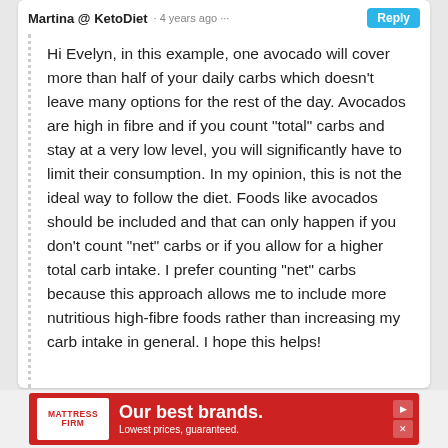Martina @ KetoDiet · 4 years ago · Reply
Hi Evelyn, in this example, one avocado will cover more than half of your daily carbs which doesn't leave many options for the rest of the day. Avocados are high in fibre and if you count "total" carbs and stay at a very low level, you will significantly have to limit their consumption. In my opinion, this is not the ideal way to follow the diet. Foods like avocados should be included and that can only happen if you don't count "net" carbs or if you allow for a higher total carb intake. I prefer counting "net" carbs because this approach allows me to include more nutritious high-fibre foods rather than increasing my carb intake in general. I hope this helps!
[Figure (infographic): Mattress Firm advertisement banner with red background, white logo box, and text 'Our best brands. Lowest prices, guaranteed.']